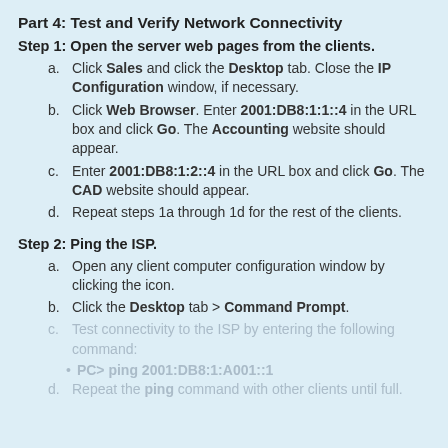Part 4: Test and Verify Network Connectivity
Step 1: Open the server web pages from the clients.
a. Click Sales and click the Desktop tab. Close the IP Configuration window, if necessary.
b. Click Web Browser. Enter 2001:DB8:1:1::4 in the URL box and click Go. The Accounting website should appear.
c. Enter 2001:DB8:1:2::4 in the URL box and click Go. The CAD website should appear.
d. Repeat steps 1a through 1d for the rest of the clients.
Step 2: Ping the ISP.
a. Open any client computer configuration window by clicking the icon.
b. Click the Desktop tab > Command Prompt.
c. Test connectivity to the ISP by entering the following command:
PC> ping 2001:DB8:1:A001::1
d. Repeat the ping command with other clients until full.